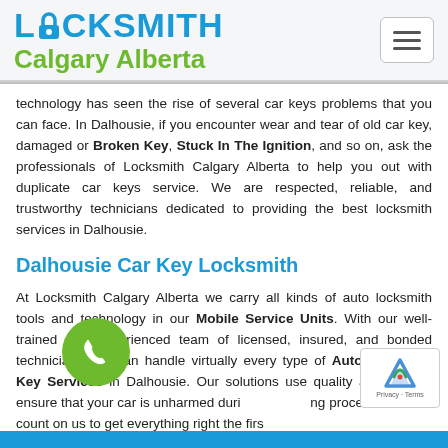[Figure (logo): Locksmith Calgary Alberta logo with lock icon replacing the 'o' in LOCKSMITH, blue uppercase text for LOCKSMITH and green text for Calgary Alberta]
technology has seen the rise of several car keys problems that you can face. In Dalhousie, if you encounter wear and tear of old car key, damaged or Broken Key, Stuck In The Ignition, and so on, ask the professionals of Locksmith Calgary Alberta to help you out with duplicate car keys service. We are respected, reliable, and trustworthy technicians dedicated to providing the best locksmith services in Dalhousie.
Dalhousie Car Key Locksmith
At Locksmith Calgary Alberta we carry all kinds of auto locksmith tools and technology in our Mobile Service Units. With our well-trained and experienced team of licensed, insured, and bonded technicians, we can handle virtually every type of Auto Lock And Key Services in Dalhousie. Our solutions use quality and care to ensure that your car is unharmed during the servicing process. You can count on us to get everything right the firs